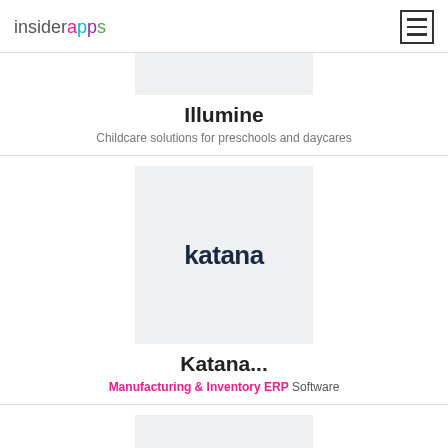insiderapps
[Figure (logo): Illumine app logo image (top, partially cropped)]
Illumine
Childcare solutions for preschools and daycares
[Figure (logo): Katana logo — dark navy text on light grey background]
Katana...
Manufacturing & Inventory ERP Software
[Figure (logo): Third app logo image (bottom, partially cropped)]